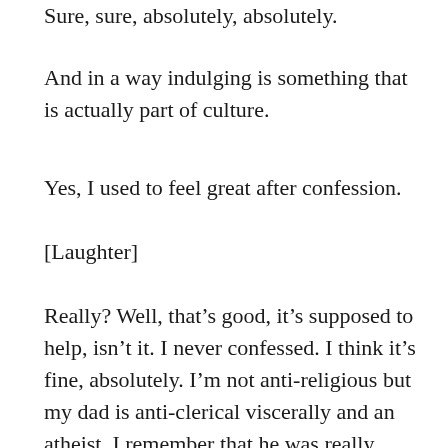Sure, sure, absolutely, absolutely.
And in a way indulging is something that is actually part of culture.
Yes, I used to feel great after confession.
[Laughter]
Really? Well, that’s good, it’s supposed to help, isn’t it. I never confessed. I think it’s fine, absolutely. I’m not anti-religious but my dad is anti-clerical viscerally and an atheist. I remember that he was really campaigning. He was libertarian as well so he used to say ‘you do what